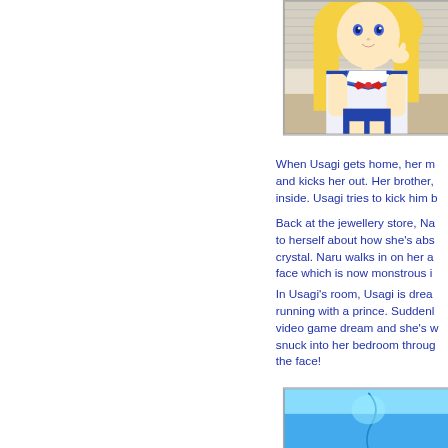[Figure (illustration): Anime illustration of a blonde girl in a white sailor school uniform with blue collar trim and red bow, sitting with hand near chin]
When Usagi gets home, her m and kicks her out. Her brother, inside. Usagi tries to kick him b
Back at the jewellery store, Na to herself about how she's abs crystal. Naru walks in on her a face which is now monstrous i
In Usagi's room, Usagi is drea running with a prince. Suddenl video game dream and she's w snuck into her bedroom throug the face!
[Figure (illustration): Anime illustration with bright blue sky/background, partial figure visible]